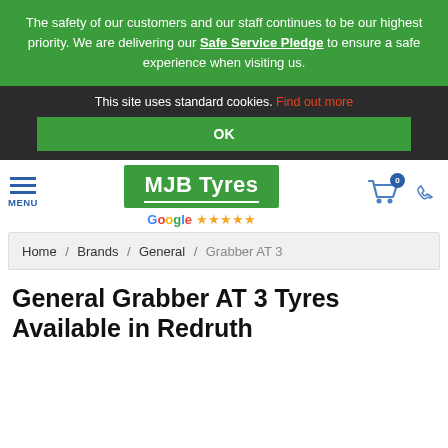The safety of our customers and our staff continues to be our highest priority. We are delivering our Safe Service Pledge to ensure a safe experience when visiting us.
This site uses standard cookies. Find out more
OK
[Figure (logo): MJB Tyres logo on green background with Google five-star rating below]
MENU
Home / Brands / General / Grabber AT 3
General Grabber AT 3 Tyres Available in Redruth